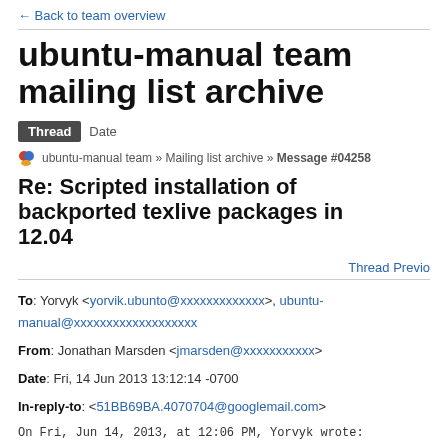← Back to team overview
ubuntu-manual team mailing list archive
Thread   Date
ubuntu-manual team » Mailing list archive » Message #04258
Re: Scripted installation of backported texlive packages in 12.04
Thread Previo
To: Yorvyk <yorvik.ubunto@xxxxxxxxxxxxx>, ubuntu-manual@xxxxxxxxxxxxxxxxxxx
From: Jonathan Marsden <jmarsden@xxxxxxxxxxx>
Date: Fri, 14 Jun 2013 13:12:14 -0700
In-reply-to: <51BB69BA.4070704@googlemail.com>
On Fri, Jun 14, 2013, at 12:06 PM, Yorvyk wrote: